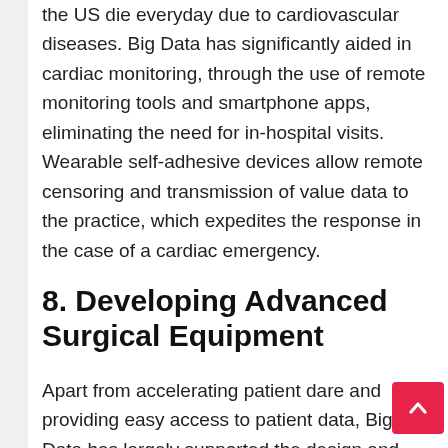the US die everyday due to cardiovascular diseases. Big Data has significantly aided in cardiac monitoring, through the use of remote monitoring tools and smartphone apps, eliminating the need for in-hospital visits. Wearable self-adhesive devices allow remote censoring and transmission of value data to the practice, which expedites the response in the case of a cardiac emergency.
8. Developing Advanced Surgical Equipment
Apart from accelerating patient dare and providing easy access to patient data, Big Data has largely supported the design and